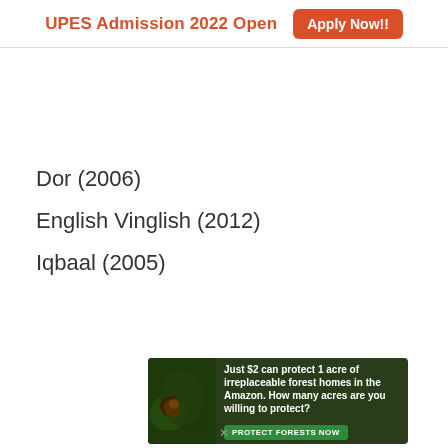UPES Admission 2022 Open  Apply Now!!
Dor (2006)
English Vinglish (2012)
Iqbaal (2005)
[Figure (other): Advertisement banner: Just $2 can protect 1 acre of irreplaceable forest homes in the Amazon. How many acres are you willing to protect? PROTECT FORESTS NOW]